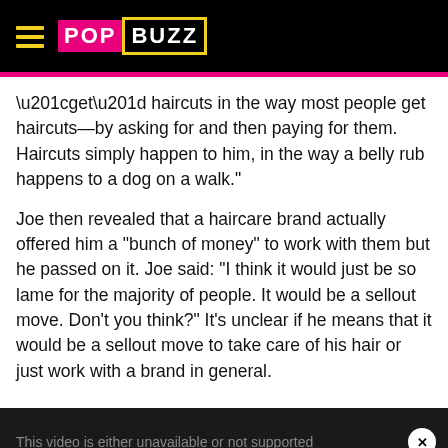POPBUZZ
“get” haircuts in the way most people get haircuts—by asking for and then paying for them. Haircuts simply happen to him, in the way a belly rub happens to a dog on a walk."
Joe then revealed that a haircare brand actually offered him a "bunch of money" to work with them but he passed on it. Joe said: "I think it would just be so lame for the majority of people. It would be a sellout move. Don't you think?" It's unclear if he means that it would be a sellout move to take care of his hair or just work with a brand in general.
[Figure (other): Video placeholder with text 'This video is either unavailable or not supported' on dark background with close button]